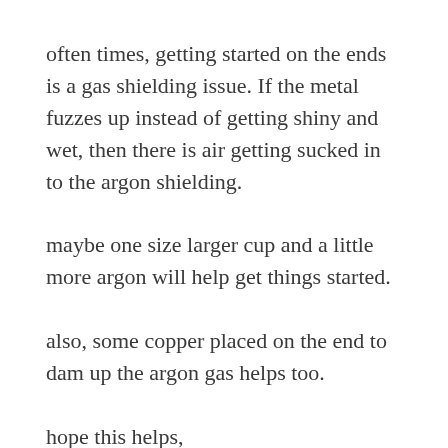often times, getting started on the ends is a gas shielding issue. If the metal fuzzes up instead of getting shiny and wet, then there is air getting sucked in to the argon shielding.
maybe one size larger cup and a little more argon will help get things started.
also, some copper placed on the end to dam up the argon gas helps too.
hope this helps,
jody